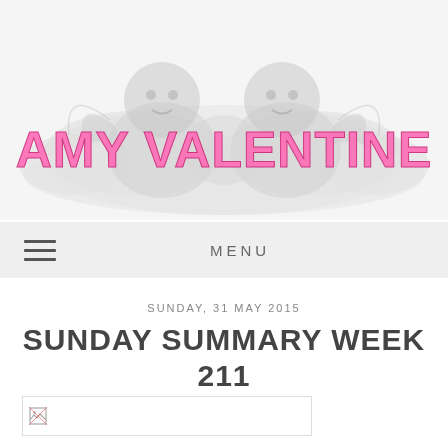[Figure (illustration): Blog header with two cherub angels on clouds with 'AMY VALENTINE' text in pink overlaid]
MENU
SUNDAY, 31 MAY 2015
SUNDAY SUMMARY WEEK 211
[Figure (photo): Broken/loading image placeholder]